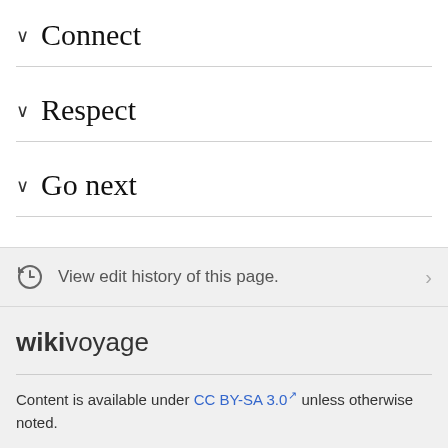Connect
Respect
Go next
View edit history of this page.
wikivoyage
Content is available under CC BY-SA 3.0 unless otherwise noted.
Terms of Use • Privacy policy • Desktop